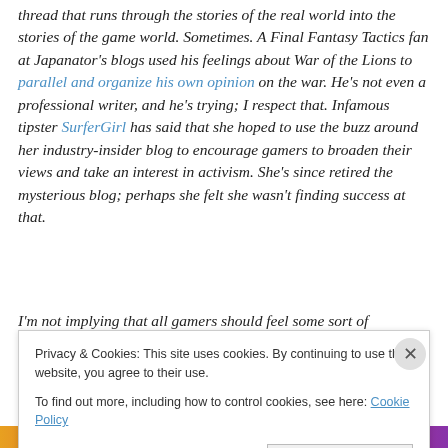thread that runs through the stories of the real world into the stories of the game world. Sometimes. A Final Fantasy Tactics fan at Japanator's blogs used his feelings about War of the Lions to parallel and organize his own opinion on the war. He's not even a professional writer, and he's trying; I respect that. Infamous tipster SurferGirl has said that she hoped to use the buzz around her industry-insider blog to encourage gamers to broaden their views and take an interest in activism. She's since retired the mysterious blog; perhaps she felt she wasn't finding success at that.
I'm not implying that all gamers should feel some sort of
Privacy & Cookies: This site uses cookies. By continuing to use this website, you agree to their use. To find out more, including how to control cookies, see here: Cookie Policy